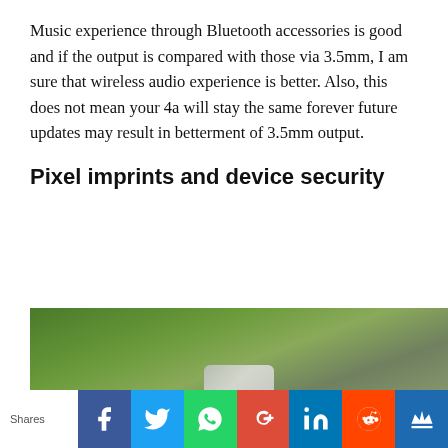Music experience through Bluetooth accessories is good and if the output is compared with those via 3.5mm, I am sure that wireless audio experience is better. Also, this does not mean your 4a will stay the same forever future updates may result in betterment of 3.5mm output.
Pixel imprints and device security
[Figure (photo): A photo showing a smartphone being held outdoors with green foliage/plants in the background]
Shares | Facebook | Twitter | WhatsApp | Google+ | LinkedIn | Reddit | Crown/Bookmark